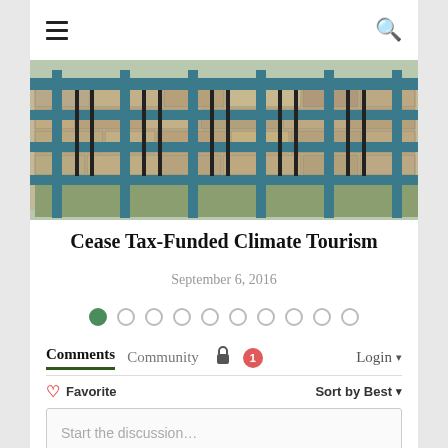☰  🔍
[Figure (photo): Photo of a blue metal fence/gate structure with stone wall behind it, outdoor scene]
Cease Tax-Funded Climate Tourism
September 6, 2016
[Figure (infographic): Pagination dots: 10 dots, first one filled green, rest empty circles]
Comments  Community  🔒  1  Login ▾
♡ Favorite   Sort by Best ▾
Start the discussion…
LOG IN WITH